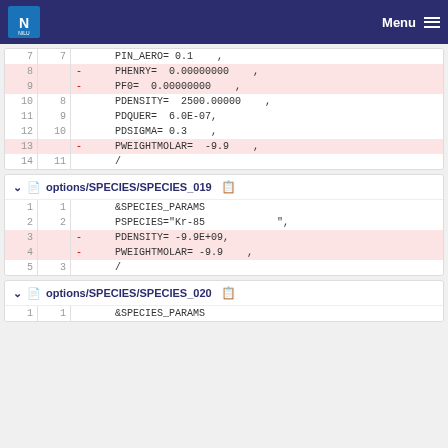Menu
| line | old | sym | code |
| --- | --- | --- | --- |
| 7 | 7 |  |     PIN_AERO= 0.1    , |
| 8 |  | – |     PHENRY=  0.00000000    , |
| 9 |  | – |     PF0=  0.00000000    , |
| 10 | 8 |  |     PDENSITY=  2500.00000    , |
| 11 | 9 |  |     PDQUER=  6.0E-07, |
| 12 | 10 |  |     PDSIGMA= 0.3    , |
| 13 |  | – |     PWEIGHTMOLAR=  -9.9    , |
| 14 | 11 |  |     / |
options/SPECIES/SPECIES_019
| line | old | sym | code |
| --- | --- | --- | --- |
| 1 | 1 |  |     &SPECIES_PARAMS |
| 2 | 2 |  |     PSPECIES="Kr-85            ", |
| 3 |  | – |     PDENSITY= -9.9E+09, |
| 4 |  | – |     PWEIGHTMOLAR= -9.9    , |
| 5 | 3 |  |     / |
options/SPECIES/SPECIES_020
| line | old | sym | code |
| --- | --- | --- | --- |
| 1 | 1 |  |     &SPECIES_PARAMS |